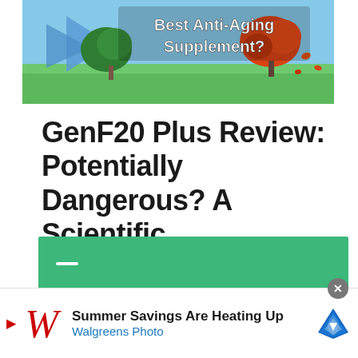[Figure (illustration): Banner image showing a supplement advertisement with trees and grass background, partially visible text reading 'Best Anti-Aging Supplement?']
GenF20 Plus Review: Potentially Dangerous? A Scientific…
[Figure (other): Green horizontal bar with white dash/minus icon]
[Figure (other): Green horizontal bar with FITNESS label in white text]
[Figure (other): Advertisement banner: Walgreens Photo - Summer Savings Are Heating Up, with Walgreens logo and map icon, close button]